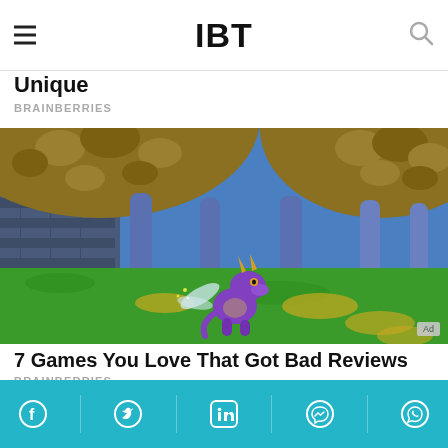IBT
Unique
BRAINBERRIES
[Figure (screenshot): Screenshot of Spyro the Dragon video game showing the purple dragon character on a green field with large golden rocky overhangs and blue tree trunks in the background. An 'Ad' badge appears in the bottom right corner.]
7 Games You Love That Got Bad Reviews
BRAINBERRIES
Social share icons: Facebook, Twitter, LinkedIn, Messenger, WhatsApp